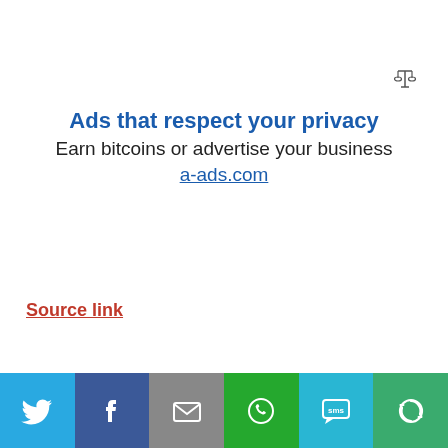[Figure (logo): Small scales/balance icon in top right corner]
Ads that respect your privacy
Earn bitcoins or advertise your business
a-ads.com
Source link
[Figure (infographic): Share bar at bottom with Twitter, Facebook, Email, WhatsApp, SMS, and share icons]